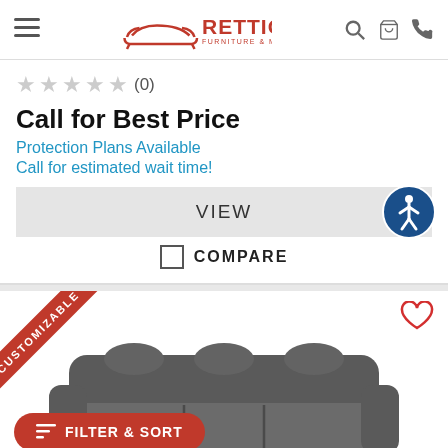Rettig Furniture & Mattress — navigation header with logo, search, cart, phone icons
★★★★★ (0)
Call for Best Price
Protection Plans Available
Call for estimated wait time!
VIEW
COMPARE
[Figure (photo): Partial view of a gray fabric reclining sofa at bottom of page, with a red CUSTOMIZABLE corner banner, a heart/favorite icon, and a red FILTER & SORT button overlay]